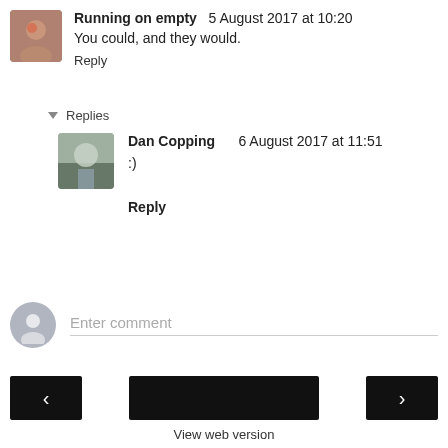Running on empty   5 August 2017 at 10:20
You could, and they would.
Reply
Replies
Dan Copping   6 August 2017 at 11:51
:)
Reply
Enter comment
View web version